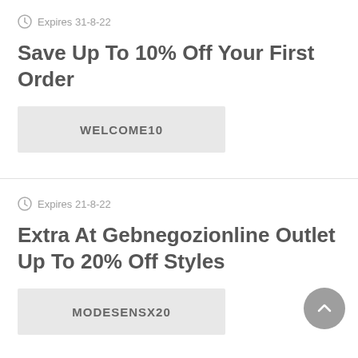Expires 31-8-22
Save Up To 10% Off Your First Order
WELCOME10
Expires 21-8-22
Extra At Gebnegozionline Outlet Up To 20% Off Styles
MODESENSX20